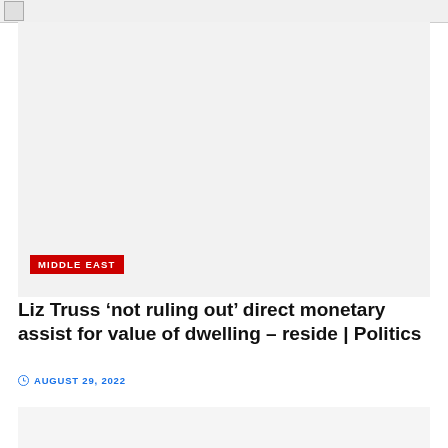[Figure (photo): Large image placeholder area with light gray background, representing a news article image related to Middle East topic]
MIDDLE EAST
Liz Truss ‘not ruling out’ direct monetary assist for value of dwelling – reside | Politics
AUGUST 29, 2022